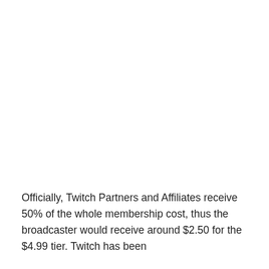Officially, Twitch Partners and Affiliates receive 50% of the whole membership cost, thus the broadcaster would receive around $2.50 for the $4.99 tier. Twitch has been